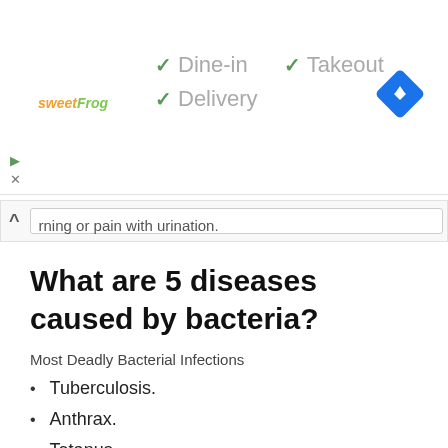[Figure (other): Advertisement banner for sweetFrog with checkmarks for Dine-in, Takeout, Delivery options and a blue navigation icon]
rning or pain with urination.
What are 5 diseases caused by bacteria?
Most Deadly Bacterial Infections
Tuberculosis.
Anthrax.
Tetanus.
Leptospirosis.
Pneumonia.
Cholera.
Botulism.